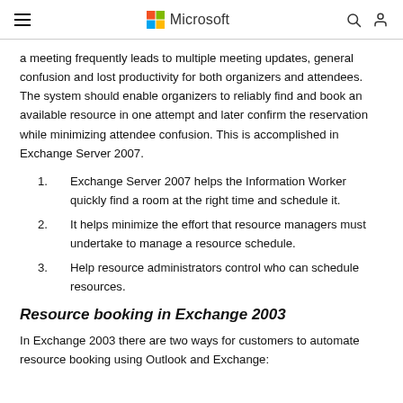Microsoft
a meeting frequently leads to multiple meeting updates, general confusion and lost productivity for both organizers and attendees. The system should enable organizers to reliably find and book an available resource in one attempt and later confirm the reservation while minimizing attendee confusion. This is accomplished in Exchange Server 2007.
1. Exchange Server 2007 helps the Information Worker quickly find a room at the right time and schedule it.
2. It helps minimize the effort that resource managers must undertake to manage a resource schedule.
3. Help resource administrators control who can schedule resources.
Resource booking in Exchange 2003
In Exchange 2003 there are two ways for customers to automate resource booking using Outlook and Exchange: